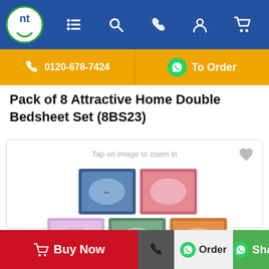[Figure (screenshot): E-commerce website screenshot showing a blue navigation bar with NT logo and icons, orange contact bar with phone number 0120-678-7424 and WhatsApp To Order button, product title, product image grid of 8 bedsheet thumbnails, and bottom action bar with Buy Now, call, Order, and Share buttons.]
Pack of 8 Attractive Home Double Bedsheet Set (8BS23)
Tap on image to zoom in